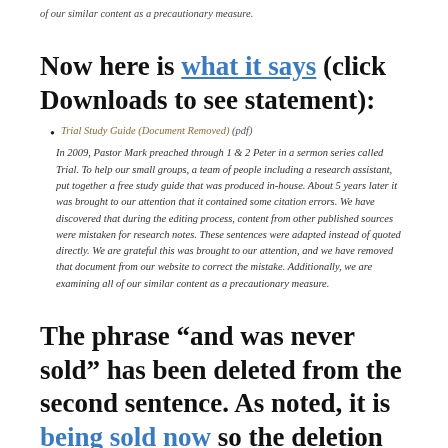of our similar content as a precautionary measure.
Now here is what it says (click Downloads to see statement):
Trial Study Guide (Document Removed) (pdf)
In 2009, Pastor Mark preached through 1 & 2 Peter in a sermon series called Trial. To help our small groups, a team of people including a research assistant, put together a free study guide that was produced in-house. About 5 years later it was brought to our attention that it contained some citation errors. We have discovered that during the editing process, content from other published sources were mistaken for research notes. These sentences were adapted instead of quoted directly. We are grateful this was brought to our attention, and we have removed that document from our website to correct the mistake. Additionally, we are examining all of our similar content as a precautionary measure.
The phrase “and was never sold” has been deleted from the second sentence. As noted, it is being sold now so the deletion makes the paragraph more accurate. However, for some